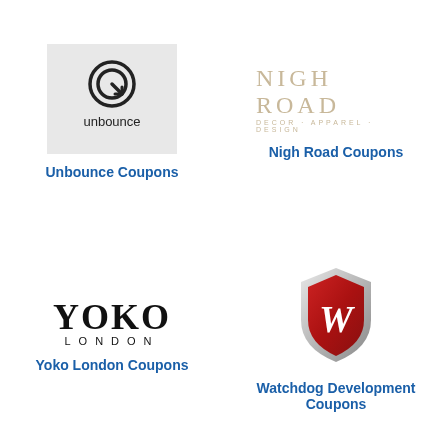[Figure (logo): Unbounce logo: circular icon with 'unbounce' text on gray background]
Unbounce Coupons
[Figure (logo): Nigh Road logo: decorative serif text 'NIGH ROAD' with subtitle 'DECOR · APPAREL · DESIGN' in gold/tan color]
Nigh Road Coupons
[Figure (logo): Yoko London logo: large serif 'YOKO' with 'LONDON' below in spaced capitals]
Yoko London Coupons
[Figure (logo): Watchdog Development logo: red shield with chrome border containing a white W]
Watchdog Development Coupons